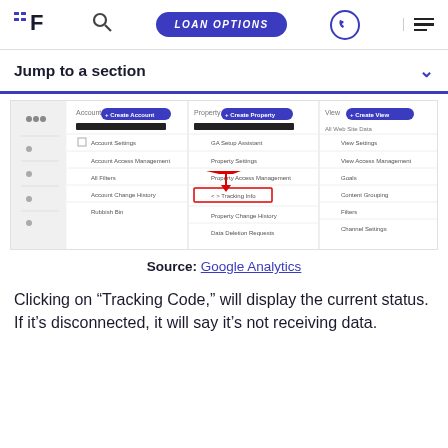LOAN OPTIONS
Jump to a section
[Figure (screenshot): Google Analytics admin interface screenshot showing Account, Property, and View columns with a red arrow pointing to 'Tracking Info' menu item under Property column, with a red rectangle highlight around it.]
Source: Google Analytics
Clicking on “Tracking Code,” will display the current status. If it’s disconnected, it will say it’s not receiving data.